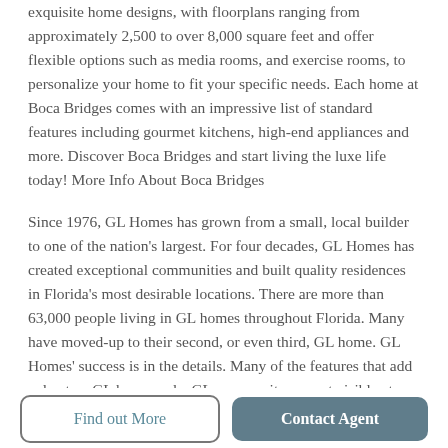exquisite home designs, with floorplans ranging from approximately 2,500 to over 8,000 square feet and offer flexible options such as media rooms, and exercise rooms, to personalize your home to fit your specific needs. Each home at Boca Bridges comes with an impressive list of standard features including gourmet kitchens, high-end appliances and more. Discover Boca Bridges and start living the luxe life today! More Info About Boca Bridges
Since 1976, GL Homes has grown from a small, local builder to one of the nation's largest. For four decades, GL Homes has created exceptional communities and built quality residences in Florida's most desirable locations. There are more than 63,000 people living in GL homes throughout Florida. Many have moved-up to their second, or even third, GL home. GL Homes' success is in the details. Many of the features that add value to a GL home and a GL community are not visible at first glance. Land purchases are strategically made. Master plans are crafted to balance the use of
Find out More
Contact Agent